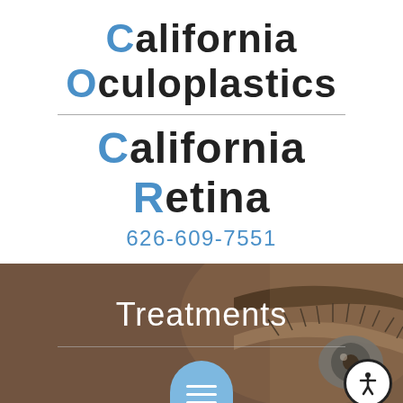California Oculoplastics
California Retina
626-609-7551
[Figure (photo): Close-up photo of a woman's eye with long eyelashes and an arched eyebrow, overlaid with a brownish semi-transparent tint. The word 'Treatments' appears in white text over the image, with a horizontal dividing line below it. A blue hamburger menu button appears at the bottom center and an accessibility icon button at the bottom right.]